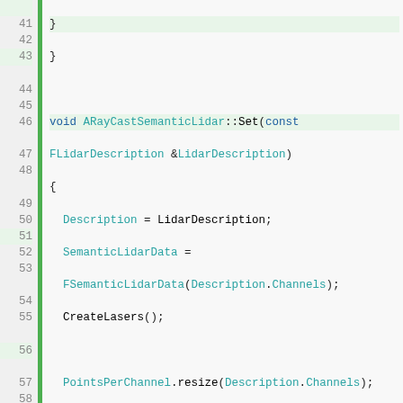[Figure (screenshot): C++ source code editor showing lines 41-67 of ARayCastSemanticLidar implementation, with line numbers, green highlight bar, and syntax highlighting in teal/blue/orange colors.]